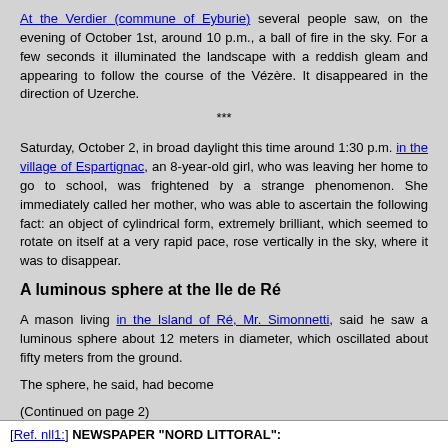At the Verdier (commune of Eyburie) several people saw, on the evening of October 1st, around 10 p.m., a ball of fire in the sky. For a few seconds it illuminated the landscape with a reddish gleam and appearing to follow the course of the Vézère. It disappeared in the direction of Uzerche.
***
Saturday, October 2, in broad daylight this time around 1:30 p.m. in the village of Espartignac, an 8-year-old girl, who was leaving her home to go to school, was frightened by a strange phenomenon. She immediately called her mother, who was able to ascertain the following fact: an object of cylindrical form, extremely brilliant, which seemed to rotate on itself at a very rapid pace, rose vertically in the sky, where it was to disappear.
A luminous sphere at the Ile de Ré
A mason living in the Island of Ré, Mr. Simonnetti, said he saw a luminous sphere about 12 meters in diameter, which oscillated about fifty meters from the ground.
The sphere, he said, had become
(Continued on page 2)
[Ref. nll1:] NEWSPAPER "NORD LITTORAL":